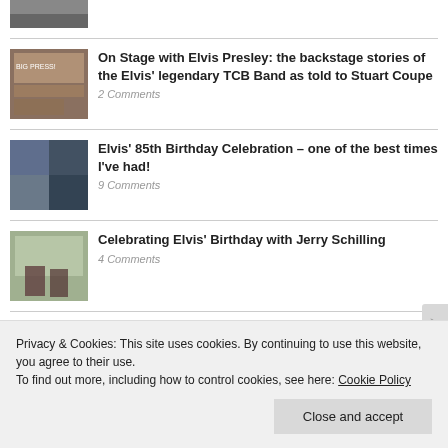[Figure (photo): Partial thumbnail image at top]
On Stage with Elvis Presley: the backstage stories of the Elvis' legendary TCB Band as told to Stuart Coupe
2 Comments
[Figure (photo): Thumbnail image for Elvis 85th Birthday article]
Elvis' 85th Birthday Celebration – one of the best times I've had!
9 Comments
[Figure (photo): Thumbnail image for Jerry Schilling article]
Celebrating Elvis' Birthday with Jerry Schilling
4 Comments
Privacy & Cookies: This site uses cookies. By continuing to use this website, you agree to their use.
To find out more, including how to control cookies, see here: Cookie Policy